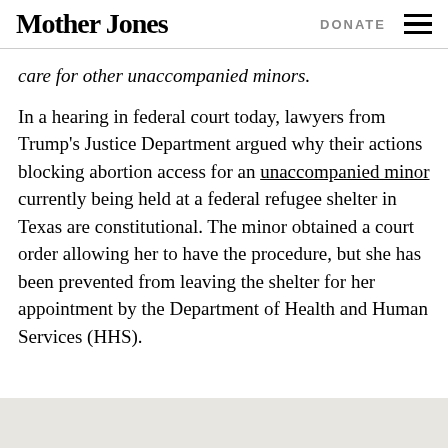Mother Jones | DONATE
care for other unaccompanied minors.
In a hearing in federal court today, lawyers from Trump's Justice Department argued why their actions blocking abortion access for an unaccompanied minor currently being held at a federal refugee shelter in Texas are constitutional. The minor obtained a court order allowing her to have the procedure, but she has been prevented from leaving the shelter for her appointment by the Department of Health and Human Services (HHS).